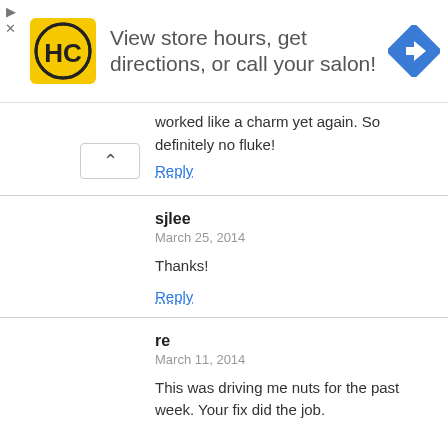[Figure (infographic): Advertisement banner: HC logo (yellow square with black HC circle logo), text 'View store hours, get directions, or call your salon!', blue diamond navigation arrow icon on the right. Play and X controls on the left.]
worked like a charm yet again. So definitely no fluke!
Reply
sjlee
March 25, 2014
Thanks!
Reply
re
March 11, 2014
This was driving me nuts for the past week. Your fix did the job.

Many thanks.
Reply